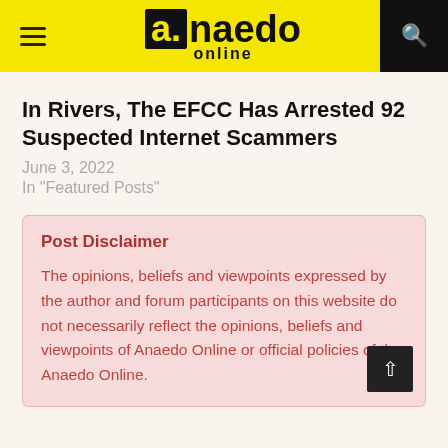a.naedo online
In Rivers, The EFCC Has Arrested 92 Suspected Internet Scammers
June 3, 2022
In "Featured Posts"
Post Disclaimer
The opinions, beliefs and viewpoints expressed by the author and forum participants on this website do not necessarily reflect the opinions, beliefs and viewpoints of Anaedo Online or official policies of the Anaedo Online.